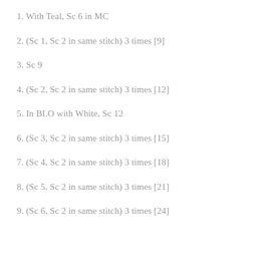1. With Teal, Sc 6 in MC
2. (Sc 1, Sc 2 in same stitch) 3 times [9]
3. Sc 9
4. (Sc 2, Sc 2 in same stitch) 3 times [12]
5. In BLO with White, Sc 12
6. (Sc 3, Sc 2 in same stitch) 3 times [15]
7. (Sc 4, Sc 2 in same stitch) 3 times [18]
8. (Sc 5, Sc 2 in same stitch) 3 times [21]
9. (Sc 6, Sc 2 in same stitch) 3 times [24]